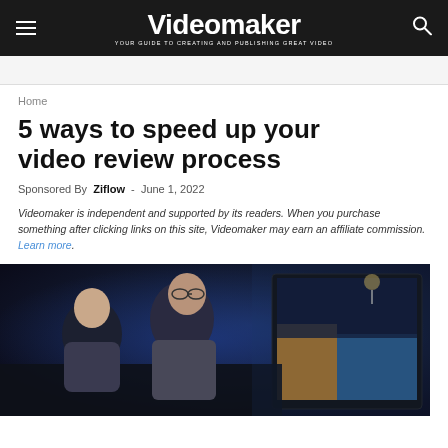Videomaker — YOUR GUIDE TO CREATING AND PUBLISHING GREAT VIDEO
Home
5 ways to speed up your video review process
Sponsored By Ziflow - June 1, 2022
Videomaker is independent and supported by its readers. When you purchase something after clicking links on this site, Videomaker may earn an affiliate commission. Learn more.
[Figure (photo): Two video editors, a woman and a bearded man wearing glasses, reviewing footage on large monitors in a dark studio environment.]